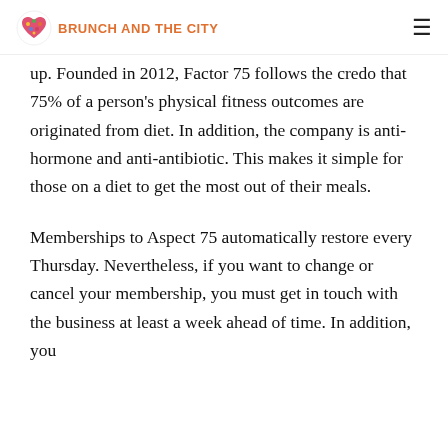BRUNCH AND THE CITY
up. Founded in 2012, Factor 75 follows the credo that 75% of a person's physical fitness outcomes are originated from diet. In addition, the company is anti-hormone and anti-antibiotic. This makes it simple for those on a diet to get the most out of their meals.
Memberships to Aspect 75 automatically restore every Thursday. Nevertheless, if you want to change or cancel your membership, you must get in touch with the business at least a week ahead of time. In addition, you